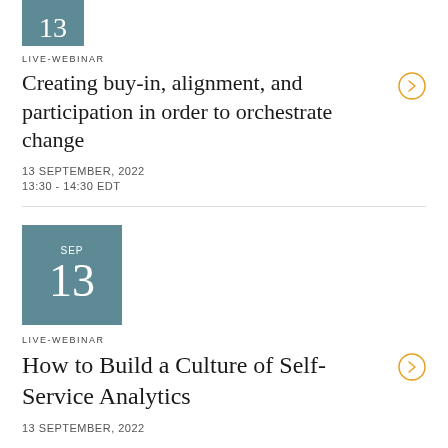[Figure (illustration): Calendar date box showing SEP 13 in teal/blue-grey color, partially cut off at top]
LIVE-WEBINAR
Creating buy-in, alignment, and participation in order to orchestrate change
13 SEPTEMBER, 2022
13:30 - 14:30 EDT
[Figure (illustration): Calendar date box showing SEP 13 in teal/blue-grey color]
LIVE-WEBINAR
How to Build a Culture of Self-Service Analytics
13 SEPTEMBER, 2022